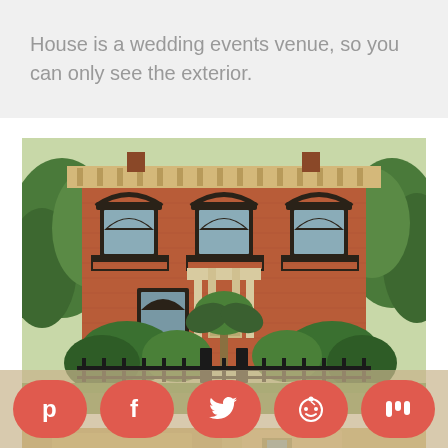House is a wedding events venue, so you can only see the exterior.
[Figure (photo): Exterior of a red brick historic house with three arched windows on upper floor, ornate dark trim, white columned entrance door, lush green shrubs and iron fence in front, trees on sides]
[Figure (photo): Partial view of another building exterior, appears to be a tan/beige historic building with decorative architecture]
[Figure (infographic): Social sharing buttons bar with Pinterest, Facebook, Twitter, Reddit, and Mix icons in coral/red rounded pill shapes]